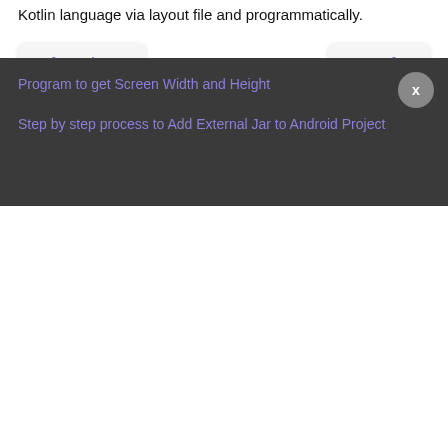Kotlin language via layout file and programmatically.
❮ Previous
Next ❯
Most Read Articles
Learn how to listen for Text Changes in EditText
Program to get Screen Width and Height
Step by step process to Add External Jar to Android Project